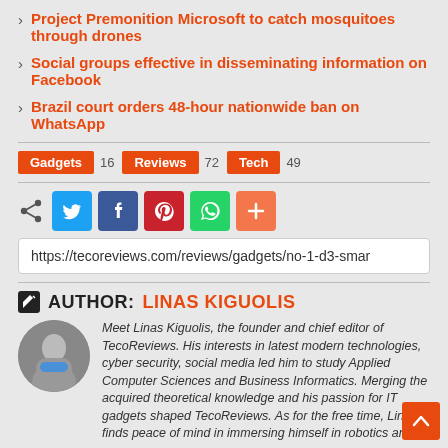Project Premonition Microsoft to catch mosquitoes through drones
Social groups effective in disseminating information on Facebook
Brazil court orders 48-hour nationwide ban on WhatsApp
Gadgets 16  Reviews 72  Tech 49
[Figure (infographic): Social share icons row: share symbol, Twitter, Facebook, Pinterest, WhatsApp, plus/more button]
https://tecoreviews.com/reviews/gadgets/no-1-d3-smar
AUTHOR: LINAS KIGUOLIS
Meet Linas Kiguolis, the founder and chief editor of TecoReviews. His interests in latest modern technologies, cyber security, social media led him to study Applied Computer Sciences and Business Informatics. Merging the acquired theoretical knowledge and his passion for IT gadgets shaped TecoReviews. As for the free time, Linas finds peace of mind in immersing himself in robotics and